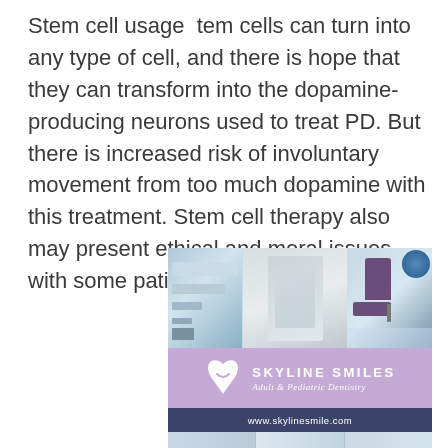Stem cell usage  tem cells can turn into any type of cell, and there is hope that they can transform into the dopamine-producing neurons used to treat PD. But there is increased risk of involuntary movement from too much dopamine with this treatment. Stem cell therapy also may present ethical and moral issues with some patients.
[Figure (photo): Advertisement for Skyline Smiles Adult & Pediatric Dentistry showing dental office interior photos, purple brand section with tooth logo and practice name, navy bar with website www.skylinesmile.com, and additional office photos at bottom.]